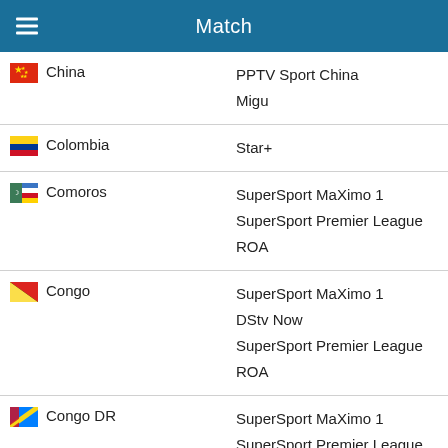Match
| Country | Channels |
| --- | --- |
| China | PPTV Sport China
Migu |
| Colombia | Star+ |
| Comoros | SuperSport MaXimo 1
SuperSport Premier League ROA |
| Congo | SuperSport MaXimo 1
DStv Now
SuperSport Premier League ROA |
| Congo DR | SuperSport MaXimo 1
SuperSport Premier League ROA |
| Costa Rica | Sky HD |
| Croatia | Sportklub 3 Croatia |
| Curaçao | RUSH |
| Cyprus | Cytavision on the Go |